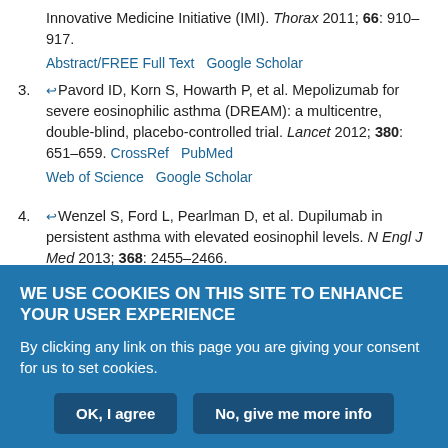Innovative Medicine Initiative (IMI). Thorax 2011; 66: 910–917. Abstract/FREE Full Text   Google Scholar
3. Pavord ID, Korn S, Howarth P, et al. Mepolizumab for severe eosinophilic asthma (DREAM): a multicentre, double-blind, placebo-controlled trial. Lancet 2012; 380: 651–659. CrossRef PubMed Web of Science Google Scholar
4. Wenzel S, Ford L, Pearlman D, et al. Dupilumab in persistent asthma with elevated eosinophil levels. N Engl J Med 2013; 368: 2455–2466. CrossRef PubMed Web of Science Google Scholar
5. Wu W, Bleecker E, Moore W, et al. Unsupervised phenotyping of Severe Asthma Research Program participants using expanded lung data. J Allergy Clin Immunol 2014; 133: 1280–1288. CrossRef Web of Science
WE USE COOKIES ON THIS SITE TO ENHANCE YOUR USER EXPERIENCE
By clicking any link on this page you are giving your consent for us to set cookies.
OK, I agree   No, give me more info